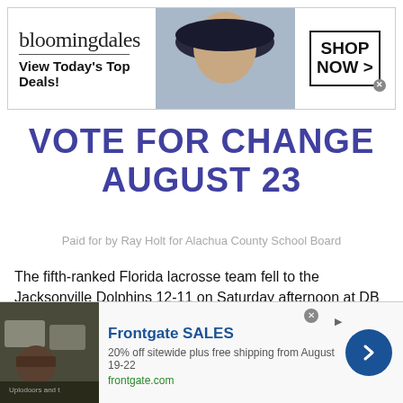[Figure (screenshot): Bloomingdales advertisement banner with logo, 'View Today's Top Deals!' tagline, woman in hat, and 'SHOP NOW >' button]
VOTE FOR CHANGE AUGUST 23
Paid for by Ray Holt for Alachua County School Board
The fifth-ranked Florida lacrosse team fell to the Jacksonville Dolphins 12-11 on Saturday afternoon at DB Milne Field.
The Gators drop to 3-2 on the year, while Jacksonville moves to 3-0 in 2021.
[Figure (screenshot): Frontgate SALES advertisement: '20% off sitewide plus free shipping from August 19-22', frontgate.com, with outdoor furniture image and blue arrow button]